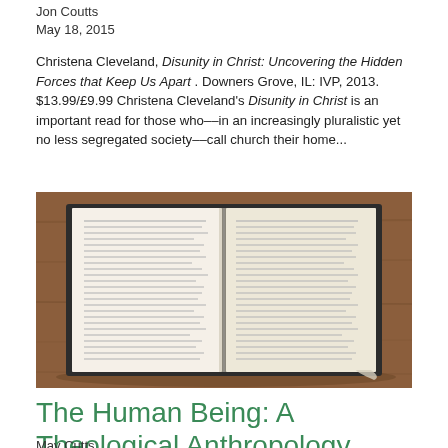Jon Coutts
May 18, 2015
Christena Cleveland, Disunity in Christ: Uncovering the Hidden Forces that Keep Us Apart . Downers Grove, IL: IVP, 2013. $13.99/£9.99 Christena Cleveland's Disunity in Christ is an important read for those who––in an increasingly pluralistic yet no less segregated society––call church their home...
[Figure (photo): An open book photographed from above on a wooden table, showing two pages of dense text]
The Human Being: A Theological Anthropology
May Cutts